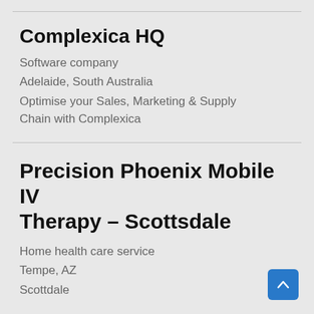Complexica HQ
Software company
Adelaide, South Australia
Optimise your Sales, Marketing & Supply Chain with Complexica
Precision Phoenix Mobile IV Therapy – Scottsdale
Home health care service
Tempe, AZ
Scottdale